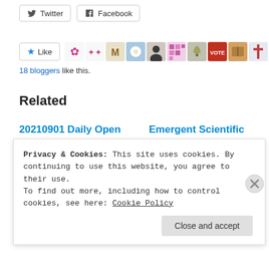[Figure (other): Twitter and Facebook share buttons]
[Figure (other): Like button with 10 blogger avatars]
18 bloggers like this.
Related
20210901 Daily Open (The U Tree)
09/01/2021 @ 00:28
With 729 comments
Emergent Scientific and Medical Speculations, Hypotheses, and
Privacy & Cookies: This site uses cookies. By continuing to use this website, you agree to their use.
To find out more, including how to control cookies, see here: Cookie Policy
Close and accept